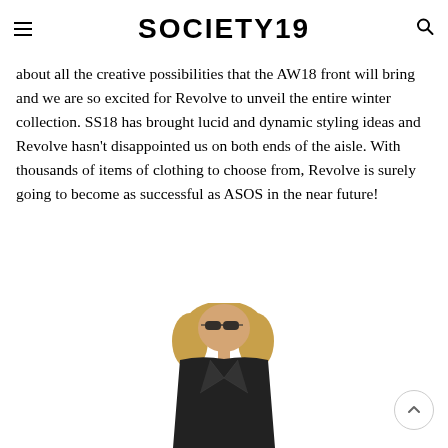SOCIETY19
about all the creative possibilities that the AW18 front will bring and we are so excited for Revolve to unveil the entire winter collection. SS18 has brought lucid and dynamic styling ideas and Revolve hasn't disappointed us on both ends of the aisle. With thousands of items of clothing to choose from, Revolve is surely going to become as successful as ASOS in the near future!
[Figure (photo): Woman with wavy hair wearing sunglasses and a dark jacket, photographed from the waist up against a white background.]